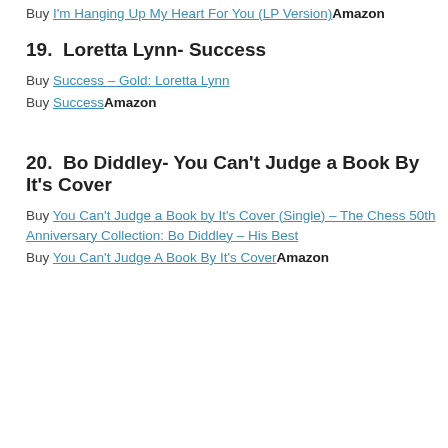Buy I'm Hanging Up My Heart For You (LP Version) Amazon
19.  Loretta Lynn- Success
Buy Success – Gold: Loretta Lynn
Buy Success Amazon
20.  Bo Diddley- You Can't Judge a Book By It's Cover
Buy You Can't Judge a Book by It's Cover (Single) – The Chess 50th Anniversary Collection: Bo Diddley – His Best
Buy You Can't Judge A Book By It's Cover Amazon